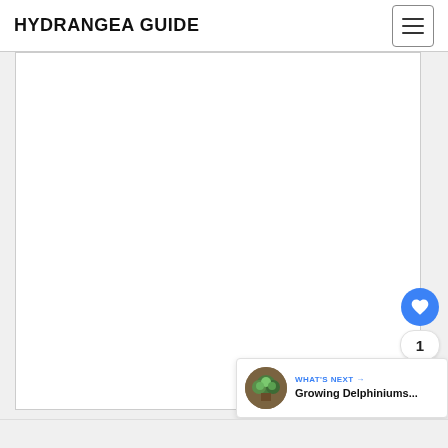HYDRANGEA GUIDE
[Figure (screenshot): White content area panel — blank image placeholder within a website layout]
[Figure (infographic): Blue circular like/favorite button with heart icon, count of 1, and share button]
[Figure (infographic): What's Next banner with thumbnail image of plants and text 'Growing Delphiniums...']